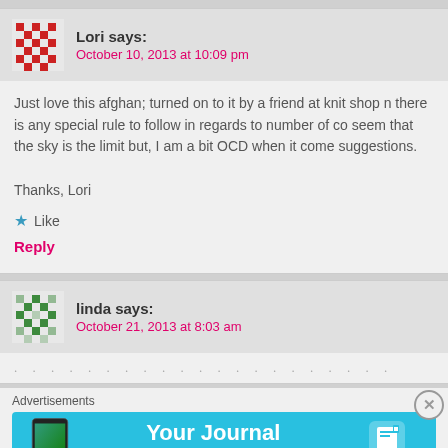Lori says:
October 10, 2013 at 10:09 pm
Just love this afghan; turned on to it by a friend at knit shop n there is any special rule to follow in regards to number of co seem that the sky is the limit but, I am a bit OCD when it come suggestions.

Thanks, Lori
Like
Reply
linda says:
October 21, 2013 at 8:03 am
Advertisements
[Figure (screenshot): Day One app advertisement banner with cyan background showing 'Your Journal for life' text and app icon]